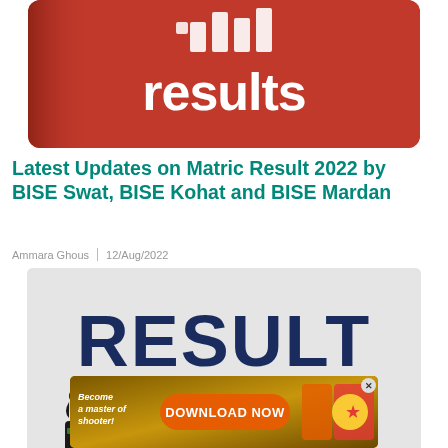[Figure (photo): Red rounded button with white bars icon and the word 'results' in white text on red background]
Latest Updates on Matric Result 2022 by BISE Swat, BISE Kohat and BISE Mardan
Ammara Ghous | 12/Aug/2022
[Figure (photo): Graphic showing the word RESULT in large dark blue bold text with an illustration of a businessman holding a red and white megaphone on a light grey background]
[Figure (photo): Advertisement banner with DOWNLOAD NOW button and text 'Become a master of shooter!']